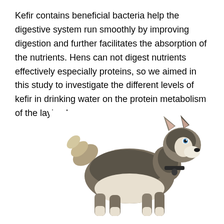Kefir contains beneficial bacteria help the digestive system run smoothly by improving digestion and further facilitates the absorption of the nutrients. Hens can not digest nutrients effectively especially proteins, so we aimed in this study to investigate the different levels of kefir in drinking water on the protein metabolism of the laying hens.
[Figure (photo): A Siberian Husky puppy standing on a white background, viewed from the side-rear, with its head turned to face right. The dog has brown and white coloring with blue eyes and pointed ears.]